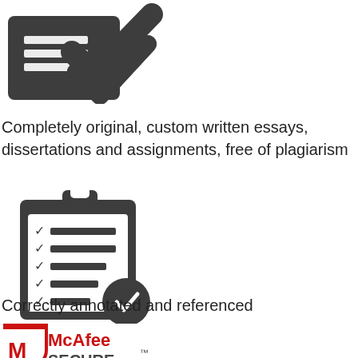[Figure (illustration): Dark gray icon of a document/checklist with a checkmark, partially cropped at top of page]
Completely original, custom written essays, dissertations and assignments, free of plagiarism
[Figure (illustration): Dark gray icon of a clipboard with checklist items and a checkmark badge at the bottom right]
Correctly annotated and referenced
[Figure (logo): McAfee SECURE logo with shield icon, partially cropped at bottom of page]